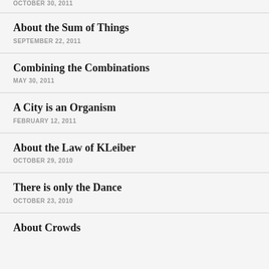OCTOBER 30, 2011
About the Sum of Things
SEPTEMBER 22, 2011
Combining the Combinations
MAY 30, 2011
A City is an Organism
FEBRUARY 12, 2011
About the Law of KLeiber
OCTOBER 29, 2010
There is only the Dance
OCTOBER 23, 2010
About Crowds